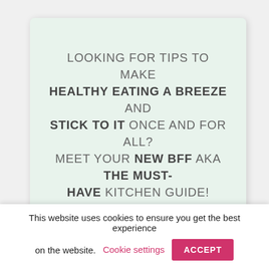LOOKING FOR TIPS TO MAKE HEALTHY EATING A BREEZE AND STICK TO IT ONCE AND FOR ALL? MEET YOUR NEW BFF AKA THE MUST-HAVE KITCHEN GUIDE!
Make healthy eating easy & convenient
Surround yourself with wholesome
This website uses cookies to ensure you get the best experience on the website. Cookie settings ACCEPT